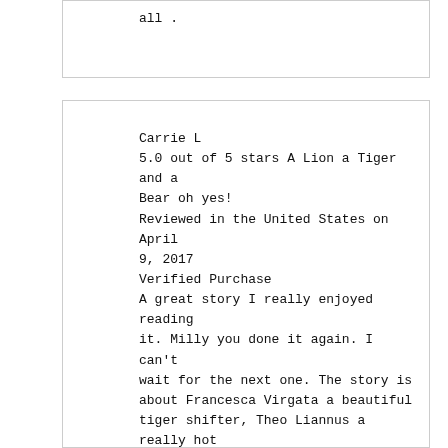all .
Carrie L
5.0 out of 5 stars A Lion a Tiger and a Bear oh yes!
Reviewed in the United States on April 9, 2017
Verified Purchase
A great story I really enjoyed reading it. Milly you done it again. I can't wait for the next one. The story is about Francesca Virgata a beautiful tiger shifter, Theo Liannus a really hot Lion shifter and Marcus Ursav a sexy Bear shifter. Francesca, Leo and Marcus want a mate so they go to Gerri Wilder to find them one. It seems simple but the fun starts when they meet their mate. There's lots of hot sexy scenes